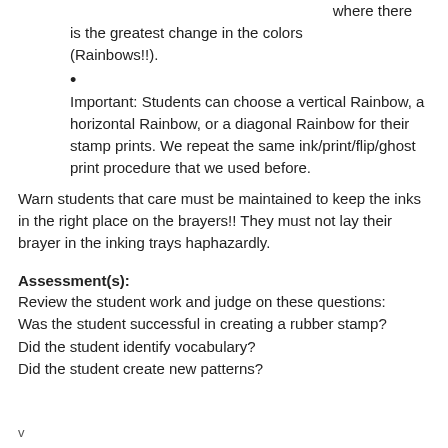where there is the greatest change in the colors (Rainbows!!).
Important: Students can choose a vertical Rainbow, a horizontal Rainbow, or a diagonal Rainbow for their stamp prints. We repeat the same ink/print/flip/ghost print procedure that we used before.
Warn students that care must be maintained to keep the inks in the right place on the brayers!! They must not lay their brayer in the inking trays haphazardly.
Assessment(s):
Review the student work and judge on these questions:
Was the student successful in creating a rubber stamp?
Did the student identify vocabulary?
Did the student create new patterns?
v